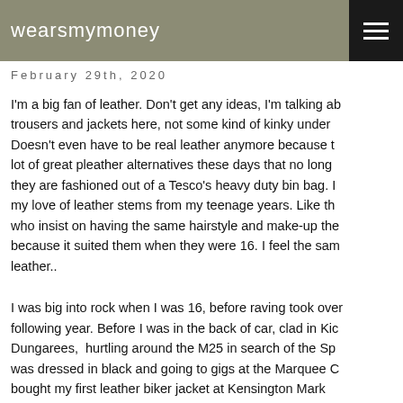wearsmymoney
February 29th, 2020
I'm a big fan of leather. Don't get any ideas, I'm talking about trousers and jackets here, not some kind of kinky under... Doesn't even have to be real leather anymore because there are a lot of great pleather alternatives these days that no longer look like they are fashioned out of a Tesco's heavy duty bin bag. I think my love of leather stems from my teenage years. Like those women who insist on having the same hairstyle and make-up they had because it suited them when they were 16. I feel the same about leather..
I was big into rock when I was 16, before raving took over the following year. Before I was in the back of car, clad in Kickers Dungarees, hurtling around the M25 in search of the Sp... was dressed in black and going to gigs at the Marquee C... bought my first leather biker jacket at Kensington Mark... money I won from a textile art competition (caravan cur... cream motifs, genius). It cost £60 and was my pride...